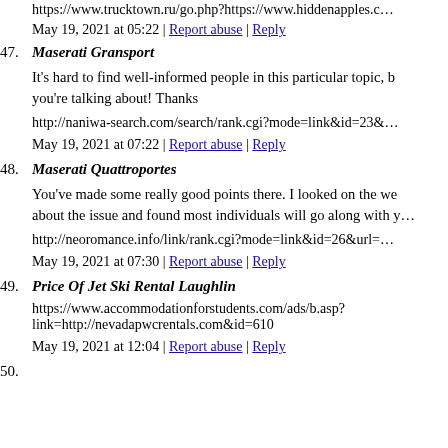https://www.trucktown.ru/go.php?https://www.hiddenapples.c…
May 19, 2021 at 05:22 | Report abuse | Reply
47. Maserati Gransport
It's hard to find well-informed people in this particular topic, b… you're talking about! Thanks
http://naniwa-search.com/search/rank.cgi?mode=link&id=23&…
May 19, 2021 at 07:22 | Report abuse | Reply
48. Maserati Quattroports
You've made some really good points there. I looked on the we… about the issue and found most individuals will go along with y…
http://neoromance.info/link/rank.cgi?mode=link&id=26&url=…
May 19, 2021 at 07:30 | Report abuse | Reply
49. Price Of Jet Ski Rental Laughlin
https://www.accommodationforstudents.com/ads/b.asp?link=http://nevadapwcrentals.com&id=610
May 19, 2021 at 12:04 | Report abuse | Reply
50. …